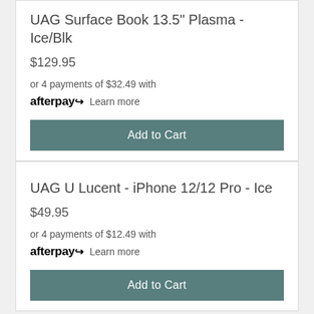UAG Surface Book 13.5" Plasma - Ice/Blk
$129.95
or 4 payments of $32.49 with afterpay Learn more
Add to Cart
UAG U Lucent - iPhone 12/12 Pro - Ice
$49.95
or 4 payments of $12.49 with afterpay Learn more
Add to Cart